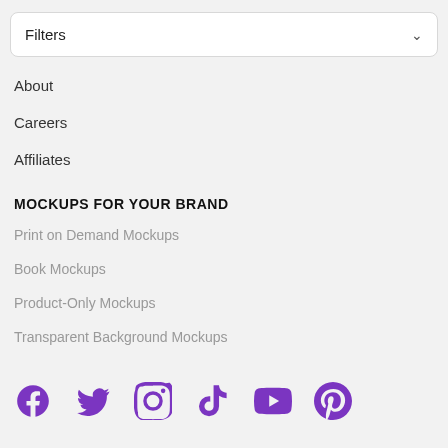Filters
About
Careers
Affiliates
MOCKUPS FOR YOUR BRAND
Print on Demand Mockups
Book Mockups
Product-Only Mockups
Transparent Background Mockups
[Figure (other): Social media icons row: Facebook, Twitter, Instagram, TikTok, YouTube, Pinterest — all in purple]